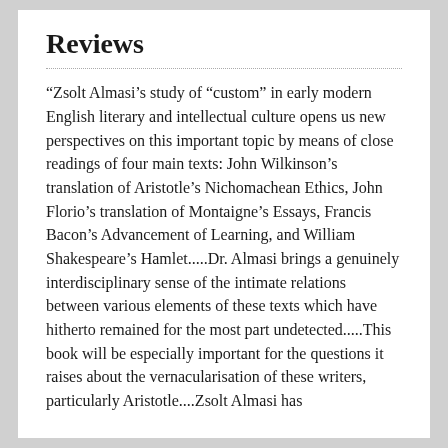Reviews
“Zsolt Almasi’s study of “custom” in early modern English literary and intellectual culture opens us new perspectives on this important topic by means of close readings of four main texts: John Wilkinson’s translation of Aristotle’s Nichomachean Ethics, John Florio’s translation of Montaigne’s Essays, Francis Bacon’s Advancement of Learning, and William Shakespeare’s Hamlet.....Dr. Almasi brings a genuinely interdisciplinary sense of the intimate relations between various elements of these texts which have hitherto remained for the most part undetected.....This book will be especially important for the questions it raises about the vernacularisation of these writers, particularly Aristotle....Zsolt Almasi has